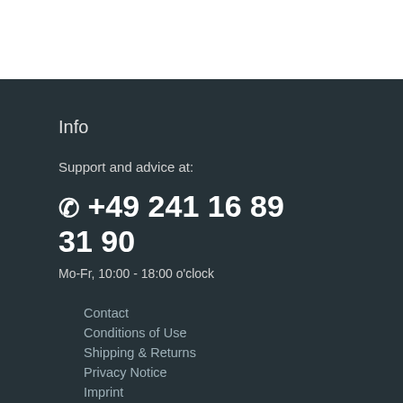Info
Support and advice at:
☎ +49 241 16 89 31 90
Mo-Fr, 10:00 - 18:00 o'clock
Contact
Conditions of Use
Shipping & Returns
Privacy Notice
Imprint
Online
Streitbeilegungsplattform